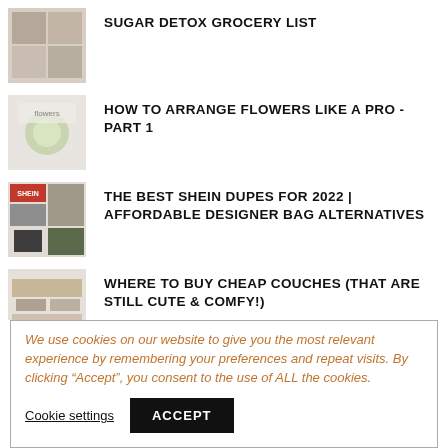SUGAR DETOX GROCERY LIST
HOW TO ARRANGE FLOWERS LIKE A PRO - PART 1
THE BEST SHEIN DUPES FOR 2022 | AFFORDABLE DESIGNER BAG ALTERNATIVES
WHERE TO BUY CHEAP COUCHES (THAT ARE STILL CUTE & COMFY!)
We use cookies on our website to give you the most relevant experience by remembering your preferences and repeat visits. By clicking “Accept”, you consent to the use of ALL the cookies.
Cookie settings  ACCEPT